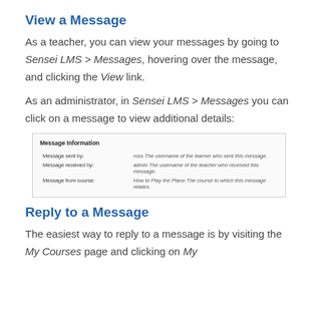View a Message
As a teacher, you can view your messages by going to Sensei LMS > Messages, hovering over the message, and clicking the View link.
As an administrator, in Sensei LMS > Messages you can click on a message to view additional details:
[Figure (screenshot): Screenshot showing Message Information panel with fields: Message sent by (ross - The username of the learner who sent this message), Message received by (admin - The username of the teacher who received this message), Message from course (How to Play the Piano - The course to which this message relates).]
Reply to a Message
The easiest way to reply to a message is by visiting the My Courses page and clicking on My